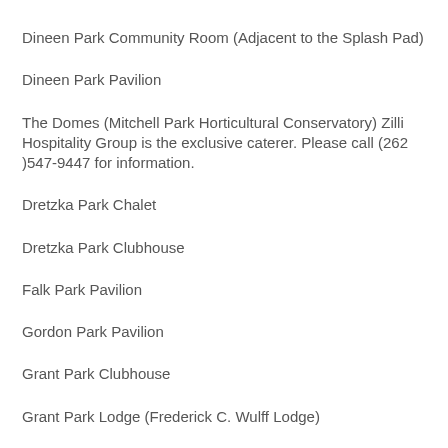Dineen Park Community Room (Adjacent to the Splash Pad)
Dineen Park Pavilion
The Domes (Mitchell Park Horticultural Conservatory) Zilli Hospitality Group is the exclusive caterer. Please call (262 )547-9447 for information.
Dretzka Park Chalet
Dretzka Park Clubhouse
Falk Park Pavilion
Gordon Park Pavilion
Grant Park Clubhouse
Grant Park Lodge (Frederick C. Wulff Lodge)